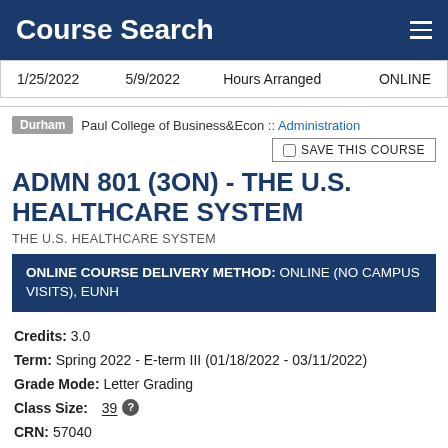Course Search
| Start Date | End Date | Schedule | Location |
| --- | --- | --- | --- |
| 1/25/2022 | 5/9/2022 | Hours Arranged | ONLINE |
Durham  Paul College of Business&Econ :: Administration
SAVE THIS COURSE
ADMN 801 (3ON) - THE U.S. HEALTHCARE SYSTEM
THE U.S. HEALTHCARE SYSTEM
ONLINE COURSE DELIVERY METHOD: ONLINE (NO CAMPUS VISITS), EUNH
Credits: 3.0
Term: Spring 2022 - E-term III (01/18/2022 - 03/11/2022)
Grade Mode: Letter Grading
Class Size: 39
CRN: 57040
This course focuses on the Organization, financing, and delivery of